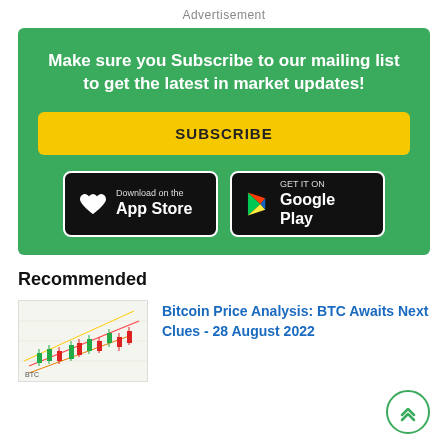Advertisement
[Figure (infographic): Green promotional banner with white bold text: 'Make sure you Subscribe to our mailing list to get the latest in market updates!', a yellow SUBSCRIBE button, and two app store download buttons (App Store and Google Play) on black backgrounds with white borders.]
Recommended
[Figure (screenshot): Thumbnail image of a Bitcoin price chart showing candlestick data with trend lines, colored green and red candles on a white/light background with BTC label visible.]
Bitcoin Price Analysis: BTC Awaits Next Clues - 28 August 2022